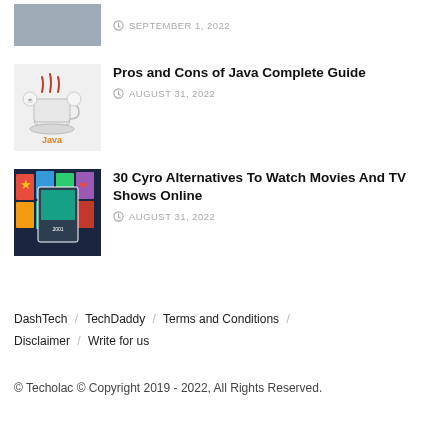[Figure (photo): Partial thumbnail image of person at laptop, cropped at top]
SEPTEMBER 1, 2022
[Figure (photo): Java programming language logo with coffee cup and steam]
Pros and Cons of Java Complete Guide
AUGUST 31, 2022
[Figure (photo): Movie poster collage with multiple colorful movie covers]
30 Cyro Alternatives To Watch Movies And TV Shows Online
AUGUST 31, 2022
DashTech / TechDaddy / Terms and Conditions / Disclaimer / Write for us
© Techolac © Copyright 2019 - 2022, All Rights Reserved.